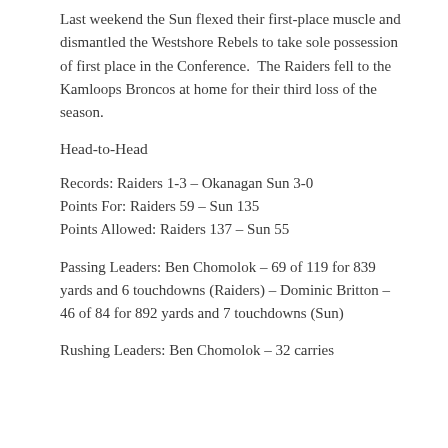Last weekend the Sun flexed their first-place muscle and dismantled the Westshore Rebels to take sole possession of first place in the Conference.  The Raiders fell to the Kamloops Broncos at home for their third loss of the season.
Head-to-Head
Records: Raiders 1-3 – Okanagan Sun 3-0
Points For: Raiders 59 – Sun 135
Points Allowed: Raiders 137 – Sun 55
Passing Leaders: Ben Chomolok – 69 of 119 for 839 yards and 6 touchdowns (Raiders) – Dominic Britton – 46 of 84 for 892 yards and 7 touchdowns (Sun)
Rushing Leaders: Ben Chomolok – 32 carries